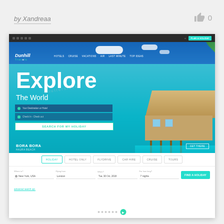by Xandreaa
[Figure (screenshot): Screenshot of a travel website called Dunhill Travels featuring a hero section with 'Explore The World' text over a Bora Bora tropical image, search form, navigation tabs for Holiday/Hotel Only/Flydriving/Car Hire/Cruise/Tours, and a booking form with destination, flying from, when, and duration fields.]